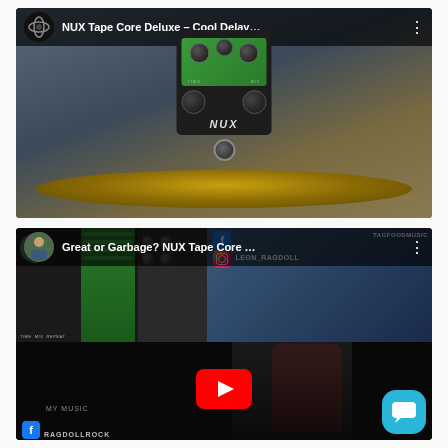[Figure (screenshot): YouTube video thumbnail for 'NUX Tape Core Deluxe – Cool Delay...' showing a NUX guitar effects pedal (black with green panel) on a wooden base, with a red YouTube play button overlay and the channel icon and title in a dark top bar.]
[Figure (screenshot): YouTube video thumbnail for 'Great or Garbage? NUX Tape Core ...' showing a split screen with green amp simulator UI on left, social media handles (TAGFOODMUSIC, LEON_RAGDOLL Instagram) on right top, and a dark bottom section with a guitarist, a red YouTube play button, a cyan chat bubble icon, and Facebook/RAGDOLLROCK branding.]